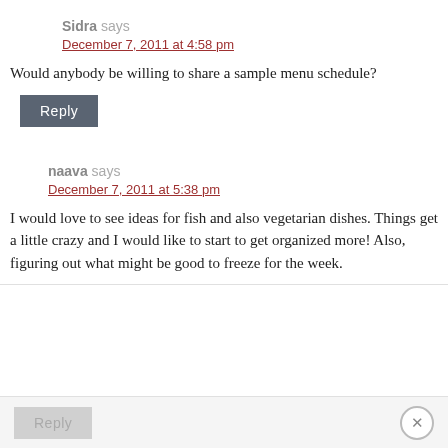Sidra says
December 7, 2011 at 4:58 pm
Would anybody be willing to share a sample menu schedule?
Reply
naava says
December 7, 2011 at 5:38 pm
I would love to see ideas for fish and also vegetarian dishes. Things get a little crazy and I would like to start to get organized more! Also, figuring out what might be good to freeze for the week.
Reply